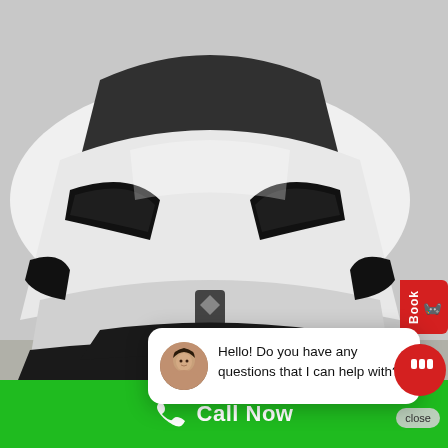[Figure (photo): Front view of a white Lamborghini Huracán sports car photographed from the front on a concrete surface. The car is white with black headlights and a front splitter.]
Book
close
Hello! Do you have any questions that I can help with?
24 H
TAX | 2 Hour Rate: $499+TAX
Call Now